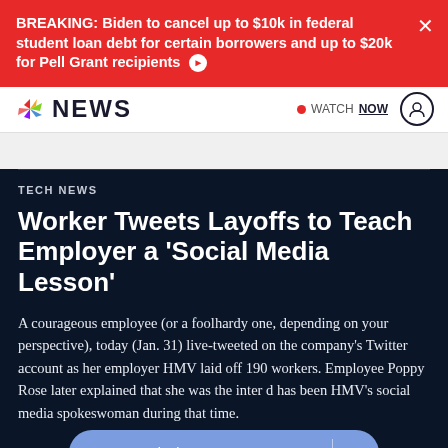BREAKING: Biden to cancel up to $10k in federal student loan debt for certain borrowers and up to $20k for Pell Grant recipients
NBC NEWS  WATCH NOW
TECH NEWS
Worker Tweets Layoffs to Teach Employer a 'Social Media Lesson'
A courageous employee (or a foolhardy one, depending on your perspective), today (Jan. 31) live-tweeted on the company's Twitter account as her employer HMV laid off 190 workers. Employee Poppy Rose later explained that she was the inter... and has been HMV's social media spokeswoman during that time.